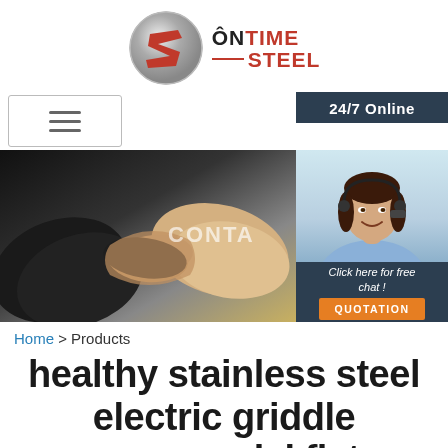[Figure (logo): OnTime Steel company logo — circular metallic emblem with red text 'ONTIME STEEL']
[Figure (screenshot): Navigation bar with hamburger menu icon and a dark '24/7 Online' banner on the right]
[Figure (photo): Two people shaking hands (business handshake) with text 'CONTA' visible; beside it a customer service woman wearing headset with '24/7 Online', 'Click here for free chat!', and orange 'QUOTATION' button]
Home > Products
healthy stainless steel electric griddle commercial flat